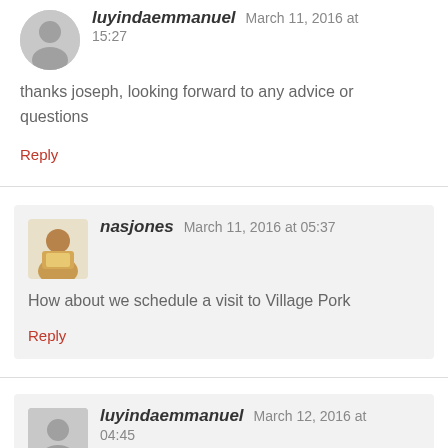luyindaemmanuel   March 11, 2016 at 15:27
thanks joseph, looking forward to any advice or questions
Reply
nasjones   March 11, 2016 at 05:37
How about we schedule a visit to Village Pork
Reply
luyindaemmanuel   March 12, 2016 at 04:45